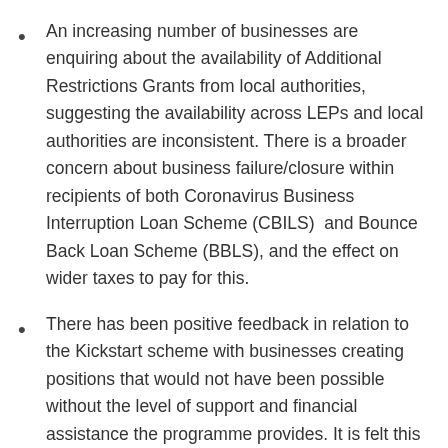An increasing number of businesses are enquiring about the availability of Additional Restrictions Grants from local authorities, suggesting the availability across LEPs and local authorities are inconsistent. There is a broader concern about business failure/closure within recipients of both Coronavirus Business Interruption Loan Scheme (CBILS)  and Bounce Back Loan Scheme (BBLS), and the effect on wider taxes to pay for this.
There has been positive feedback in relation to the Kickstart scheme with businesses creating positions that would not have been possible without the level of support and financial assistance the programme provides. It is felt this scheme is essential to the country's longer-term